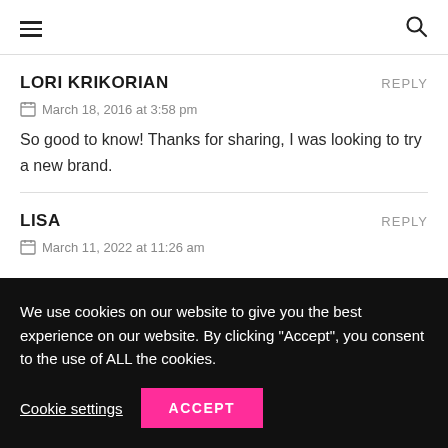≡  🔍
LORI KRIKORIAN   REPLY
📅 March 18, 2016 at 3:58 pm
So good to know! Thanks for sharing, I was looking to try a new brand.
LISA   REPLY
📅 March 11, 2022 at 11:26 am
We use cookies on our website to give you the best experience on our website. By clicking "Accept", you consent to the use of ALL the cookies.
Cookie settings  ACCEPT